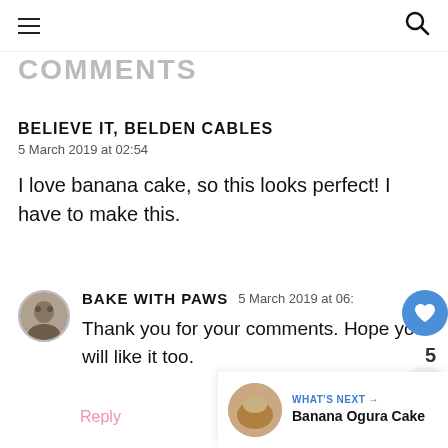COMMENTS
BELIEVE IT, BELDEN CABLES
5 March 2019 at 02:54
I love banana cake, so this looks perfect! I have to make this.
BAKE WITH PAWS  5 March 2019 at 06:
Thank you for your comments. Hope you will like it too.
Reply
WHAT'S NEXT → Banana Ogura Cake